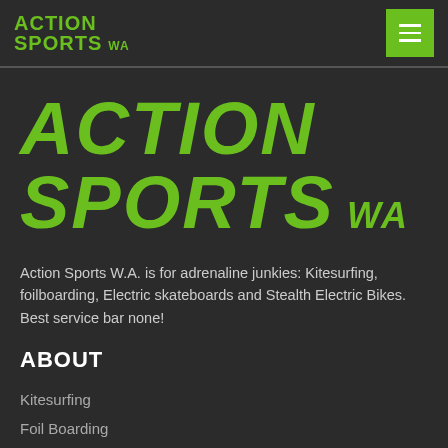ACTION SPORTS WA
ACTION SPORTS WA
Action Sports W.A. is for adrenaline junkies: Kitesurfing, foilboarding, Electric skateboards and Stealth Electric Bikes. Best service bar none!
ABOUT
Kitesurfing
Foil Boarding